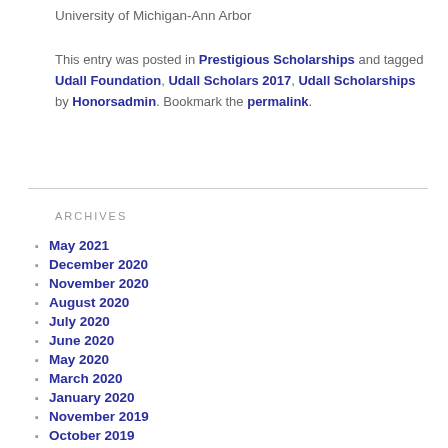University of Michigan-Ann Arbor
This entry was posted in Prestigious Scholarships and tagged Udall Foundation, Udall Scholars 2017, Udall Scholarships by Honorsadmin. Bookmark the permalink.
ARCHIVES
May 2021
December 2020
November 2020
August 2020
July 2020
June 2020
May 2020
March 2020
January 2020
November 2019
October 2019
September 2019
August 2019
July 2019